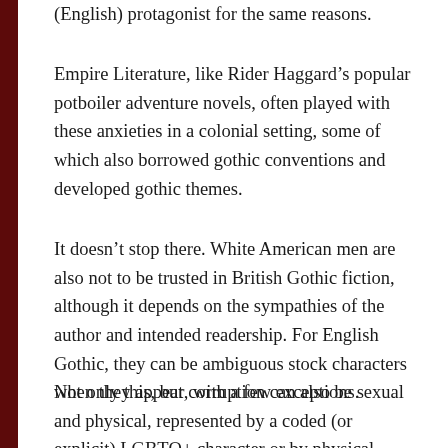(English) protagonist for the same reasons.
Empire Literature, like Rider Haggard’s popular potboiler adventure novels, often played with these anxieties in a colonial setting, some of which also borrowed gothic conventions and developed gothic themes.
It doesn’t stop there. White American men are also not to be trusted in British Gothic fiction, although it depends on the sympathies of the author and intended readership. For English Gothic, they can be ambiguous stock characters when they appear, with a few exceptions.
Not only this, but corruption can also be sexual and physical, represented by a coded (or explicit) LGBTQ+ character or by physical disability. Most usually, a